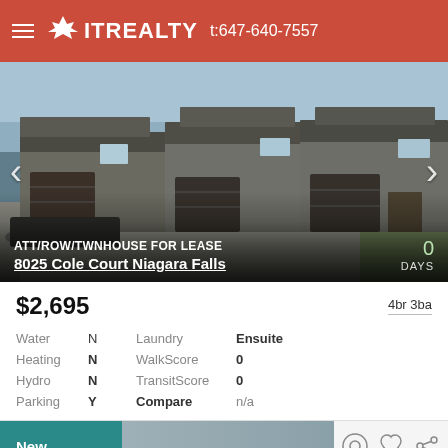IT REALTY t:647-640-7557
[Figure (photo): Exterior photo of a townhouse/row house with dark brown garage doors, gray siding, and a driveway. Navigation arrows on left and right sides.]
ATT/ROW/TWNHOUSE FOR LEASE
8025 Cole Court Niagara Falls
0 DAYS
$2,695
4br 3ba
| Water | N | Laundry | Ensuite |
| Heating | N | WalkScore | 0 |
| Hydro | N | TransitScore | 0 |
| Parking | Y | Compare | n/a |
New
Smart Search